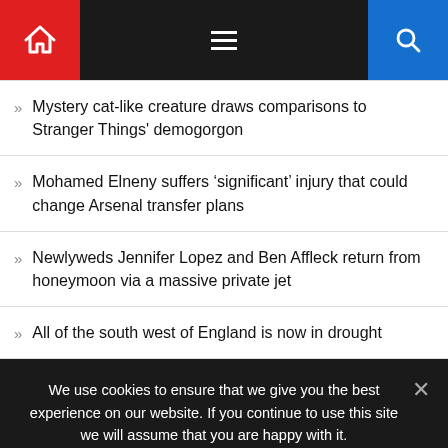Navigation header with home, menu, and search
Mystery cat-like creature draws comparisons to Stranger Things' demogorgon
Mohamed Elneny suffers ‘significant’ injury that could change Arsenal transfer plans
Newlyweds Jennifer Lopez and Ben Affleck return from honeymoon via a massive private jet
All of the south west of England is now in drought
We use cookies to ensure that we give you the best experience on our website. If you continue to use this site we will assume that you are happy with it.
Ok